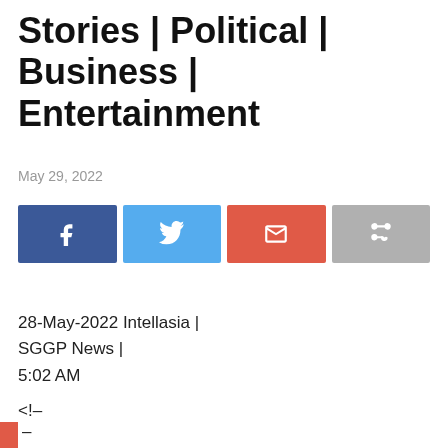Stories | Political | Business | Entertainment
May 29, 2022
[Figure (other): Social share buttons: Facebook (blue), Twitter (light blue), Email (red), Share (grey)]
28-May-2022 Intellasia | SGGP News | 5:02 AM
<!–
–